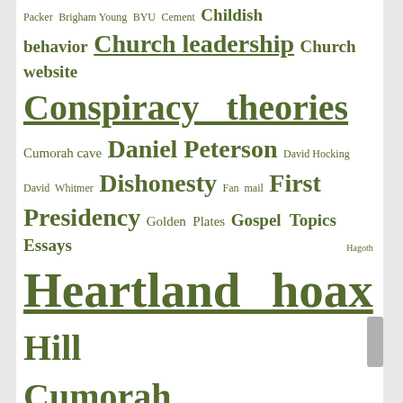Packer Brigham Young BYU Cement Childish behavior Church leadership Church website Conspiracy theories Cumorah cave Daniel Peterson David Hocking David Whitmer Dishonesty Fan mail First Presidency Golden Plates Gospel Topics Essays Hagoth Heartland hoax Hill Cumorah Historical sources Hugh Nibley Hypocrisy John A. Widtsoe John L. Sorenson Joseph Fielding Smith Kinderhook Plates LeGrand R. Curtis Jr. Letter I Letter IV Letter VII Logical fallacies Marion G. Romney Martin Harris Maxwell Institute Misrepresentation Mormon's Codex Oliver Cowdery Prophetic infallibility Racism Responsible scholarship Rian Nelson River Sidon Rodney Meldrum Seer stones Self-awareness Spencer W.